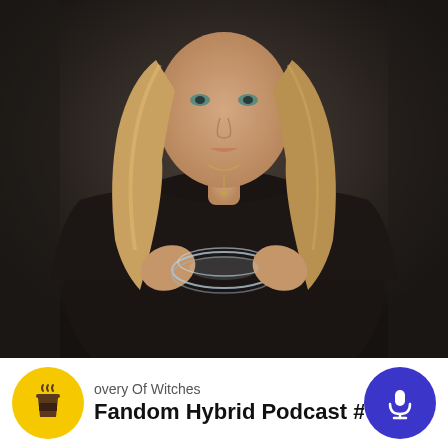[Figure (photo): A woman with long wavy blonde-brown hair wearing a black oversized top, holding a glass object with both hands outstretched, against a dark moody background. Promotional image for a TV series about witches.]
overy Of Witches
Fandom Hybrid Podcast #143 - A